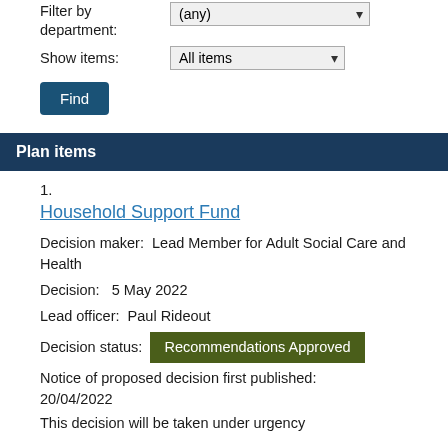Filter by department: (any)
Show items: All items
Find
Plan items
1.
Household Support Fund
Decision maker:  Lead Member for Adult Social Care and Health
Decision:   5 May 2022
Lead officer:  Paul Rideout
Decision status:  Recommendations Approved
Notice of proposed decision first published: 20/04/2022
This decision will be taken under urgency